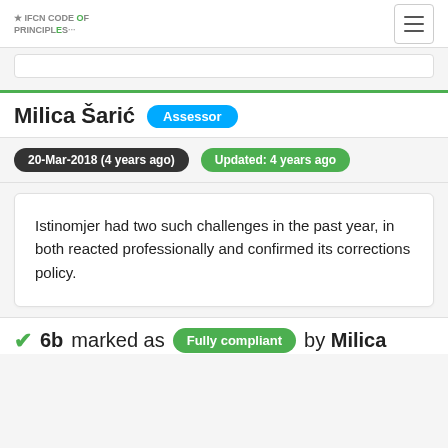IFCN CODE OF PRINCIPLES
Milica Šarić  Assessor
20-Mar-2018 (4 years ago)  Updated: 4 years ago
Istinomjer had two such challenges in the past year, in both reacted professionally and confirmed its corrections policy.
✔ 6b marked as Fully compliant by Milica